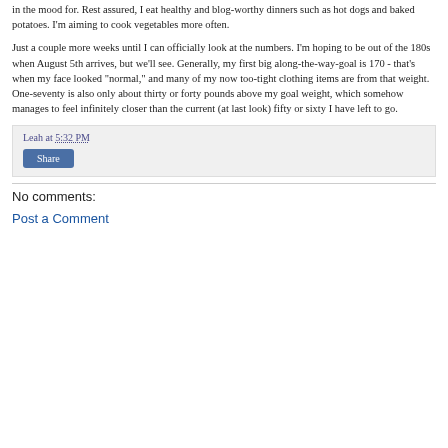in the mood for. Rest assured, I eat healthy and blog-worthy dinners such as hot dogs and baked potatoes. I'm aiming to cook vegetables more often.
Just a couple more weeks until I can officially look at the numbers. I'm hoping to be out of the 180s when August 5th arrives, but we'll see. Generally, my first big along-the-way-goal is 170 - that's when my face looked "normal," and many of my now too-tight clothing items are from that weight. One-seventy is also only about thirty or forty pounds above my goal weight, which somehow manages to feel infinitely closer than the current (at last look) fifty or sixty I have left to go.
Leah at 5:32 PM
Share
No comments:
Post a Comment